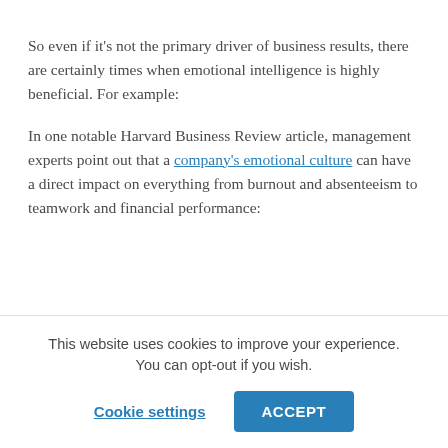So even if it's not the primary driver of business results, there are certainly times when emotional intelligence is highly beneficial. For example:
In one notable Harvard Business Review article, management experts point out that a company's emotional culture can have a direct impact on everything from burnout and absenteeism to teamwork and financial performance:
This website uses cookies to improve your experience. You can opt-out if you wish.